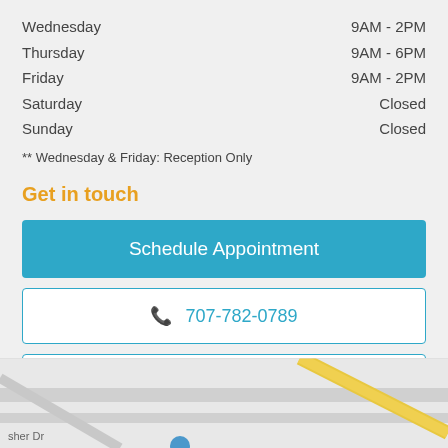Wednesday    9AM - 2PM
Thursday    9AM - 6PM
Friday    9AM - 2PM
Saturday    Closed
Sunday    Closed
** Wednesday & Friday: Reception Only
Get in touch
Schedule Appointment
707-782-0789
Email Us
[Figure (map): Street map showing local area with roads including Fisher Dr and a yellow highlighted road]